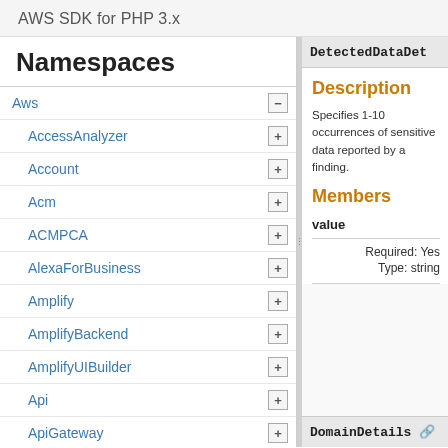AWS SDK for PHP 3.x
Namespaces
Aws
AccessAnalyzer
Account
Acm
ACMPCA
AlexaForBusiness
Amplify
AmplifyBackend
AmplifyUIBuilder
Api
ApiGateway
ApiGatewayManagementApi
DetectedDataDet
Description
Specifies 1-10 occurrences of sensitive data reported by a finding.
Members
value
Required: Yes
Type: string
DomainDetails